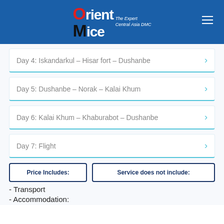[Figure (logo): Orient Mice - The Expert Central Asia DMC logo on blue header background]
Day 4: Iskandarkul – Hisar fort – Dushanbe
Day 5: Dushanbe – Norak – Kalai Khum
Day 6: Kalai Khum – Khaburabot – Dushanbe
Day 7: Flight
Price Includes:
Service does not include:
- Transport
- Accommodation: